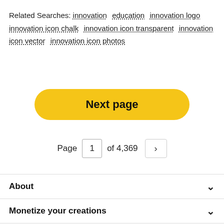Related Searches: innovation  education  innovation logo  innovation icon chalk  innovation icon transparent  innovation icon vector  innovation icon photos
Next page
Page  1  of 4,369  >
About
Monetize your creations
Services
Policies